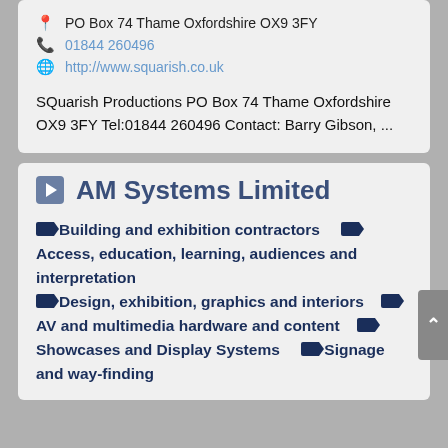PO Box 74 Thame Oxfordshire OX9 3FY
01844 260496
http://www.squarish.co.uk
SQuarish Productions PO Box 74 Thame Oxfordshire OX9 3FY Tel:01844 260496 Contact: Barry Gibson, ...
AM Systems Limited
Building and exhibition contractors
Access, education, learning, audiences and interpretation
Design, exhibition, graphics and interiors
AV and multimedia hardware and content
Showcases and Display Systems
Signage and way-finding